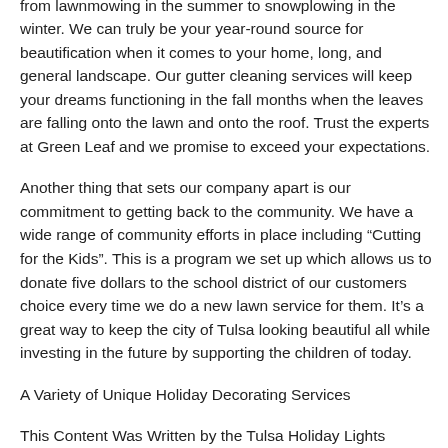We offer a wide variety of services that includes everything from lawnmowing in the summer to snowplowing in the winter. We can truly be your year-round source for beautification when it comes to your home, long, and general landscape. Our gutter cleaning services will keep your dreams functioning in the fall months when the leaves are falling onto the lawn and onto the roof. Trust the experts at Green Leaf and we promise to exceed your expectations.
Another thing that sets our company apart is our commitment to getting back to the community. We have a wide range of community efforts in place including “Cutting for the Kids”. This is a program we set up which allows us to donate five dollars to the school district of our customers choice every time we do a new lawn service for them. It’s a great way to keep the city of Tulsa looking beautiful all while investing in the future by supporting the children of today.
A Variety of Unique Holiday Decorating Services
This Content Was Written by the Tulsa Holiday Lights Experts at Green Leaf Lawn Service
We provide turnkey Tulsa Holiday Lights decorating services to the most discriminating clients. We offer a variety of unique holiday